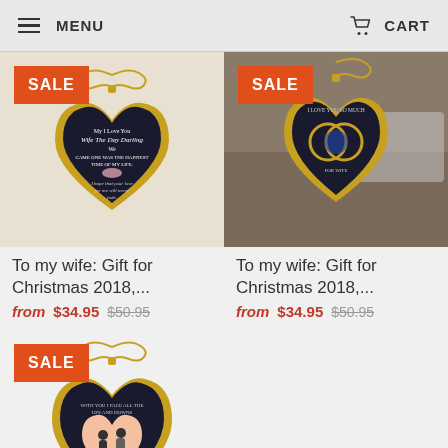MENU   CART
[Figure (photo): Heart-shaped gold necklace with black enamel and floral text, SALE badge]
To my wife: Gift for Christmas 2018,...
from $34.95 $50.95
[Figure (photo): Heart-shaped gold necklace with rings design, SALE badge]
To my wife: Gift for Christmas 2018,...
from $34.95 $50.95
[Figure (photo): Heart-shaped gold necklace with couple silhouette, SALE badge]
To my wife: Gift for